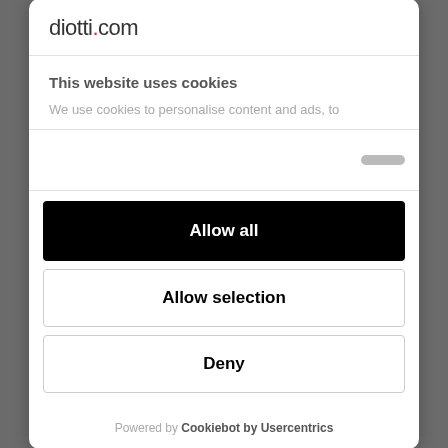diotti.com
This website uses cookies
We use cookies to personalise content and ads, to
Allow all
Allow selection
Deny
Powered by Cookiebot by Usercentrics